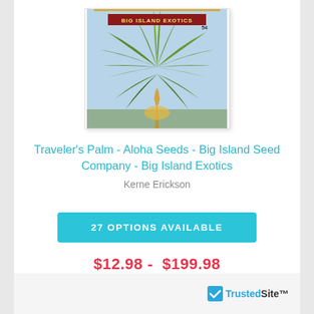[Figure (illustration): Vintage seed packet artwork for Traveler's Palm by Big Island Exotics, showing a large fan palm against a tropical blue sky background with 'TRAVELER'S PALM' text at top and 'BIG ISLAND EXOTICS' on a banner.]
Traveler's Palm - Aloha Seeds - Big Island Seed Company - Big Island Exotics
Kerne Erickson
27 OPTIONS AVAILABLE
$12.98 -  $199.98
[Figure (logo): TrustedSite badge with blue checkmark and TrustedSite text]